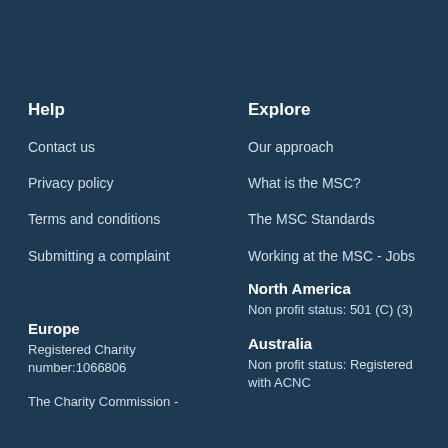Help
Contact us
Privacy policy
Terms and conditions
Submitting a complaint
Explore
Our approach
What is the MSC?
The MSC Standards
Working at the MSC - Jobs
Europe
Registered Charity number:1066806
The Charity Commission -
North America
Non profit status: 501 (C) (3)
Australia
Non profit status: Registered with ACNC